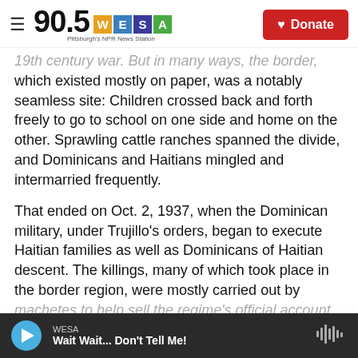90.5 WESA — Pittsburgh's NPR News Station | Donate
19th century war. But in many ways, the border, which existed mostly on paper, was a notably seamless site: Children crossed back and forth freely to go to school on one side and home on the other. Sprawling cattle ranches spanned the divide, and Dominicans and Haitians mingled and intermarried frequently.
That ended on Oct. 2, 1937, when the Dominican military, under Trujillo's orders, began to execute Haitian families as well as Dominicans of Haitian descent. The killings, many of which took place in the border region, were mostly carried out by machetes to help sell the regime's official account
WESA — Wait Wait... Don't Tell Me!